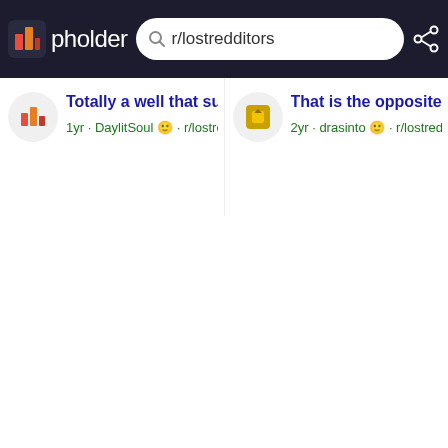pholder — search bar: r/lostredditors
Totally a well that sucks — 1yr · DaylitSoul · r/lostredd…
That is the opposite of t… — 2yr · drasinto · r/lostreddito…